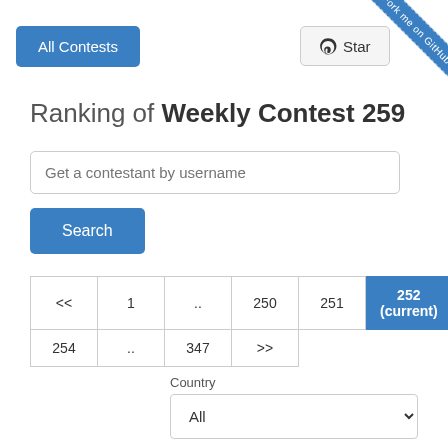All Contests | Star | Fork me on GitHub
Ranking of Weekly Contest 259
Get a contestant by username
Search
<< 1 .. 250 251 252 (current) 253 254 .. 347 >>
Country
All
# Username   Rank  Previous rating  Fin...